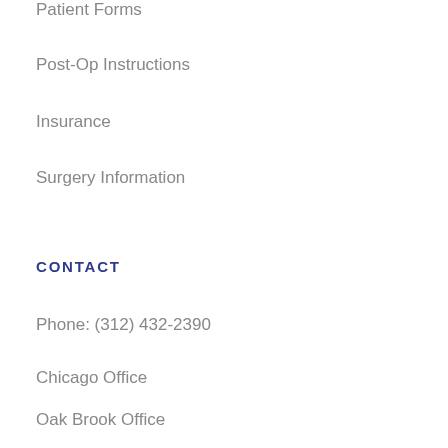Patient Forms
Post-Op Instructions
Insurance
Surgery Information
CONTACT
Phone: (312) 432-2390
Chicago Office
Oak Brook Office